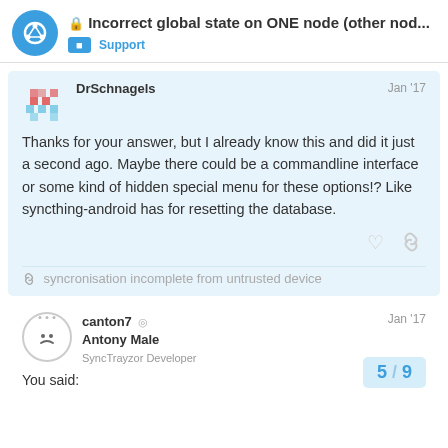🔒 Incorrect global state on ONE node (other nod... — Support
DrSchnagels — Jan '17
Thanks for your answer, but I already know this and did it just a second ago. Maybe there could be a commandline interface or some kind of hidden special menu for these options!? Like syncthing-android has for resetting the database.
syncronisation incomplete from untrusted device
canton7 — Antony Male — SyncTrayzor Developer — Jan '17
You said:
5 / 9